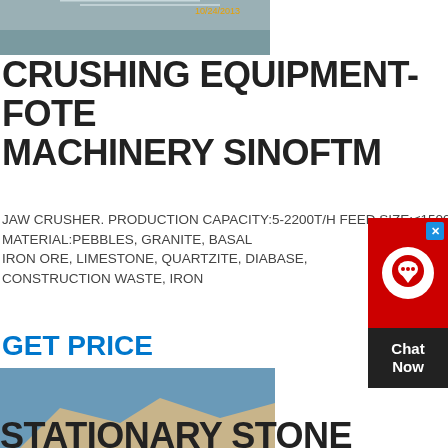[Figure (photo): Top partial photo of machinery/equipment, dated 10/24/2013]
CRUSHING EQUIPMENT-FOTE MACHINERY SINOFTM
JAW CRUSHER. PRODUCTION CAPACITY:5-2200T/H FEED SIZE:≤1500MM MATERIAL:PEBBLES, GRANITE, BASALT, IRON ORE, LIMESTONE, QUARTZITE, DIABASE, CONSTRUCTION WASTE, IRON
GET PRICE
[Figure (photo): Stationary stone crusher plant with conveyor belts in open pit quarry, dated 2012/02/14]
STATIONARY STONE CRUSHER